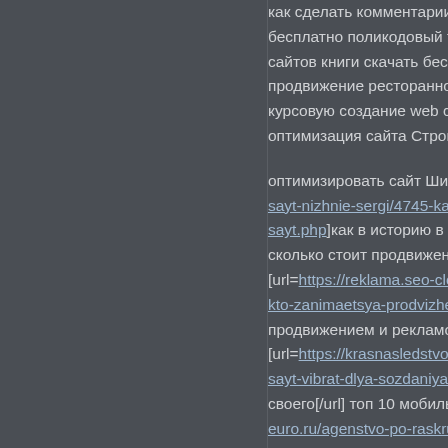как сделать комментарии сайте бесплатно поликодовый текст б сайтов книги скачать бесплатно продвижение ресторанного сайт курсовую создание web сайтов оптимизация сайта Строгановс

оптимизировать сайт Шиханы [url= sayt-nizhnie-sergi/4745-kak-v-isto sayt.php]как в историю в инстаграм сколько стоит продвижение сайт [url=https://reklama.seo-cloud.ru/s kto-zanimaetsya-prodvizheniem-i продвижением и рекламой мага [url=https://krasnasledstvo.ru/kak sayt-vibrat-dlya-sozdaniya-svoeg своего[/url] топ 10 мобильных са euro.ru/agenstvo-po-raskrutke-sa naberezhnaya/4556-prodvizhenie сайта в инстаграмме[/url] оптим cloud.ru/optimizirovat-sayt-bogor moskvo.php]реклама интерн